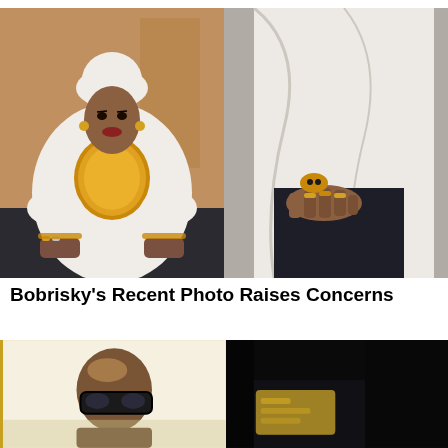[Figure (photo): Two side-by-side photos: left shows a person in white outfit with gold sequined chest panel and white head wrap, wearing gold jewelry; right shows a close-up of the same white outfit with a hand bearing gold rings resting on dark fabric.]
Bobrisky's Recent Photo Raises Concerns
[Figure (photo): Two side-by-side photos at bottom: left shows a person with a shaved head wearing large dark sunglasses against a bright background; right shows a dark interior scene, possibly inside a vehicle.]